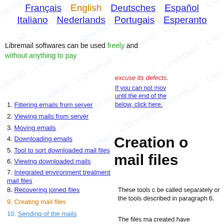Français
English
Deutsches
Español
Italiano
Nederlands
Portugais
Esperanto
Libremail softwares can be used freely and without anything to pay
excuse its defects.
If you can not move until the end of the below, click here.
1. Filtering emails from server
2. Viewing mails from server
3. Moving emails
4. Downloading emails
5. Tool to sort downloaded mail files
6. Viewing downloaded mails
7. Integrated environment treatment mail files
8. Recovering joined files
9. Creating mail files
10. Sending of the mails
Creation o mail files
These tools c be called separately or the tools described in paragraph 6.
The files ma created have